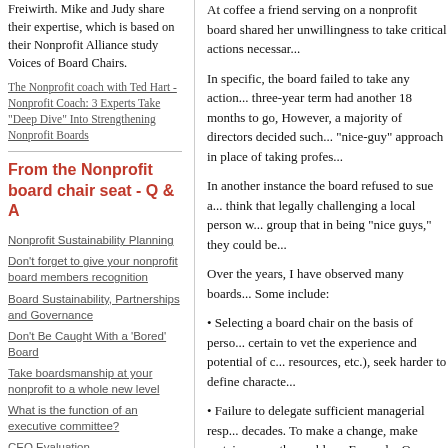Freiwirth. Mike and Judy share their expertise, which is based on their Nonprofit Alliance study Voices of Board Chairs.
The Nonprofit coach with Ted Hart - Nonprofit Coach: 3 Experts Take "Deep Dive" Into Strengthening Nonprofit Boards
From the Nonprofit board chair seat - Q & A
Nonprofit Sustainability Planning
Don't forget to give your nonprofit board members recognition
Board Sustainability, Partnerships and Governance
Don't Be Caught With a 'Bored' Board
Take boardsmanship at your nonprofit to a whole new level
What is the function of an executive committee?
CEO Evaluation
Board chairs and their fiduciary duties
Boards should play an active part in the political process.
Creating productive meetings
Who's the Boss?
At coffee a friend serving on a nonprofit board shared her unwillingness to take critical actions necessary...
In specific, the board failed to take any action... three-year term had another 18 months to go, However, a majority of directors decided such... "nice-guy" approach in place of taking profes...
In another instance the board refused to sue a... think that legally challenging a local person w... group that in being "nice guys," they could be...
Over the years, I have observed many boards... Some include:
• Selecting a board chair on the basis of perso... certain to vet the experience and potential of c... resources, etc.), seek harder to define characte...
• Failure to delegate sufficient managerial resp... decades. To make a change, make certain new... the problem. Example: One board refused to s...
• Engaging a weak local CEO because the boa... carefully as others and that costs of relocation...
• Be certain that the board is not "rubber-stam... the board or outside counsel determines the ca...
* Retaining an ED who is only focusing on th... and results are all more than adequate. But th...